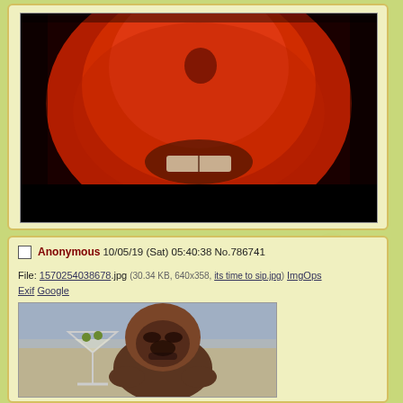[Figure (photo): Red-tinted close-up photo of a face with dark background at bottom]
Anonymous 10/05/19 (Sat) 05:40:38 No.786741
File: 1570254038678.jpg (30.34 KB, 640x358, its time to sip.jpg) ImgOps Exif Google
[Figure (photo): Photo of a gorilla/orangutan sitting with a martini glass]